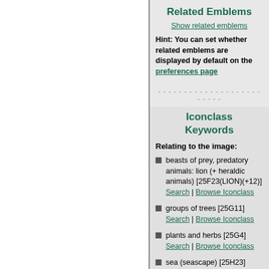Related Emblems
Show related emblems
Hint: You can set whether related emblems are displayed by default on the preferences page
Iconclass Keywords
Relating to the image:
beasts of prey, predatory animals: lion (+ heraldic animals) [25F23(LION)(+12)] Search | Browse Iconclass
groups of trees [25G11] Search | Browse Iconclass
plants and herbs [25G4] Search | Browse Iconclass
sea (seascape) [25H23] Search | Browse Iconclass